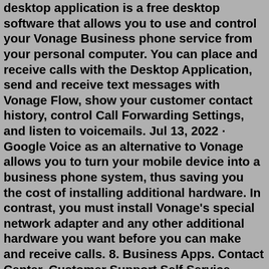desktop application is a free desktop software that allows you to use and control your Vonage Business phone service from your personal computer. You can place and receive calls with the Desktop Application, send and receive text messages with Vonage Flow, show your customer contact history, control Call Forwarding Settings, and listen to voicemails. Jul 13, 2022 · Google Voice as an alternative to Vonage allows you to turn your mobile device into a business phone system, thus saving you the cost of installing additional hardware. In contrast, you must install Vonage's special network adapter and any other additional hardware you want before you can make and receive calls. 8. Business Apps. Contact Center. Customer Support Self Service. Vonage International. Guides. Phones. Business Apps. ... Poly CCX 500 & CCX 600 Phone. View Quick Start ... Vonage places No. 9 in our rating of the Best Business Phone Systems of 2022. Professional reviews found Vonage to offer extremely reliable uptime meaning that the cloud network it's based on is ...Online ordering is